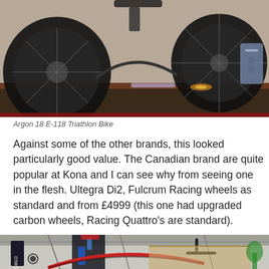[Figure (photo): Argon 18 E-118 Triathlon Bike displayed on a dark stand at an exhibition, showing two large black wheels and the bike frame with handlebars and aerobar setup]
Argon 18 E-118 Triathlon Bike
Against some of the other brands, this looked particularly good value. The Canadian brand are quite popular at Kona and I can see why from seeing one in the flesh. Ultegra Di2, Fulcrum Racing wheels as standard and from £4999 (this one had upgraded carbon wheels, Racing Quattro's are standard).
[Figure (photo): A triathlon/road bike in red and black on display at an exhibition, with a mannequin wearing a triathlon suit visible, and a CIELO banner in the background]